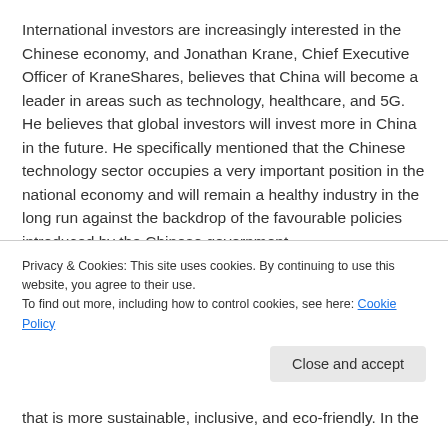International investors are increasingly interested in the Chinese economy, and Jonathan Krane, Chief Executive Officer of KraneShares, believes that China will become a leader in areas such as technology, healthcare, and 5G. He believes that global investors will invest more in China in the future. He specifically mentioned that the Chinese technology sector occupies a very important position in the national economy and will remain a healthy industry in the long run against the backdrop of the favourable policies introduced by the Chinese government.
Marcos Troyjo, President of the New Development Bank, said that thanks to China's economic scale and economic sophistication, its value-add to the global value chains will be one of the most important "magnets" in attracting
Privacy & Cookies: This site uses cookies. By continuing to use this website, you agree to their use.
To find out more, including how to control cookies, see here: Cookie Policy
that is more sustainable, inclusive, and eco-friendly. In the